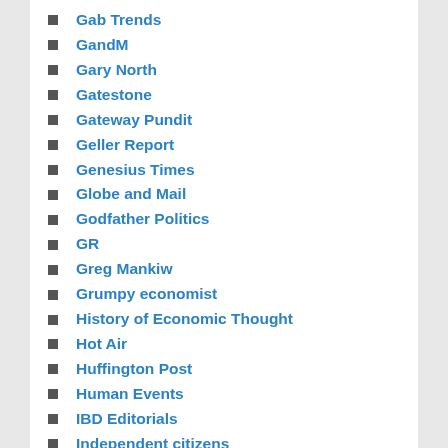Gab Trends
GandM
Gary North
Gatestone
Gateway Pundit
Geller Report
Genesius Times
Globe and Mail
Godfather Politics
GR
Greg Mankiw
Grumpy economist
History of Economic Thought
Hot Air
Huffington Post
Human Events
IBD Editorials
Independent citizens
Infowars
Instapundit
Intellectual Dark Web